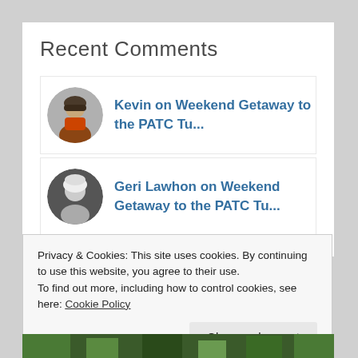Recent Comments
Kevin on Weekend Getaway to the PATC Tu...
Geri Lawhon on Weekend Getaway to the PATC Tu...
Privacy & Cookies: This site uses cookies. By continuing to use this website, you agree to their use.
To find out more, including how to control cookies, see here: Cookie Policy
Close and accept